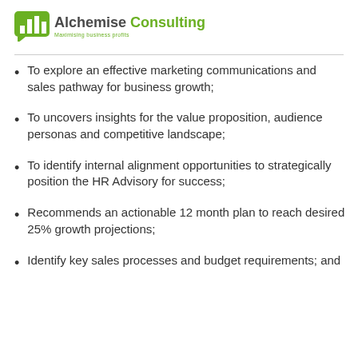[Figure (logo): Alchemise Consulting logo with green bar chart icon and tagline 'Maximising business profits']
To explore an effective marketing communications and sales pathway for business growth;
To uncovers insights for the value proposition, audience personas and competitive landscape;
To identify internal alignment opportunities to strategically position the HR Advisory for success;
Recommends an actionable 12 month plan to reach desired 25% growth projections;
Identify key sales processes and budget requirements; and